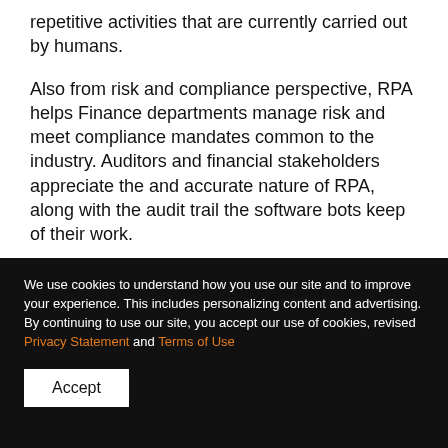repetitive activities that are currently carried out by humans.
Also from risk and compliance perspective, RPA helps Finance departments manage risk and meet compliance mandates common to the industry. Auditors and financial stakeholders appreciate the and accurate nature of RPA, along with the audit trail the software bots keep of their work.
Sample candidate processes for RPA
Order to cash
We use cookies to understand how you use our site and to improve your experience. This includes personalizing content and advertising. By continuing to use our site, you accept our use of cookies, revised Privacy Statement and Terms of Use
Accept